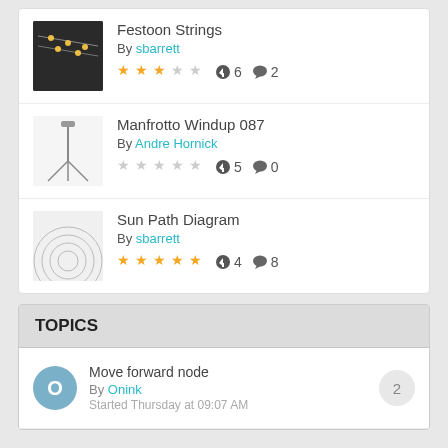Festoon Strings By sbarrett, 3 stars, downloads 6, comments 2
Manfrotto Windup 087 By Andre Hornick, 0 stars, downloads 5, comments 0
Sun Path Diagram By sbarrett, 5 stars, downloads 4, comments 8
TOPICS
Move forward node By Onink Started Thursday at 09:07 AM, 2 replies